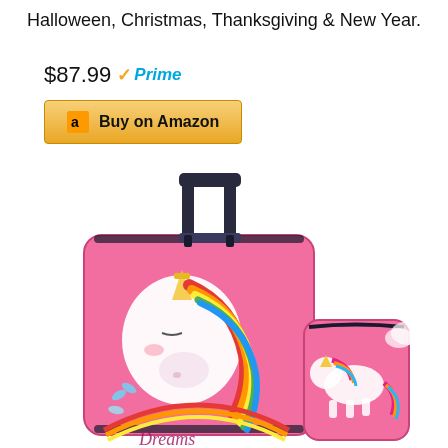Halloween, Christmas, Thanksgiving & New Year.
$87.99 Prime
[Figure (photo): Pink unicorn kids luggage set with a rolling suitcase and a smaller backpack/bag, both decorated with rainbow unicorn cartoon graphics. The suitcase has an extended telescoping handle. Text 'Dreams' partially visible at the bottom.]